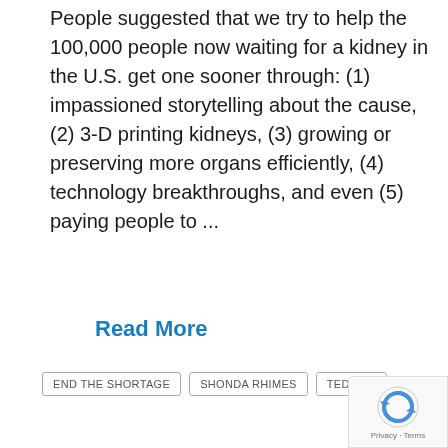People suggested that we try to help the 100,000 people now waiting for a kidney in the U.S. get one sooner through: (1) impassioned storytelling about the cause, (2) 3-D printing kidneys, (3) growing or preserving more organs efficiently, (4) technology breakthroughs, and even (5) paying people to ...
Read More
END THE SHORTAGE
SHONDA RHIMES
TED2016